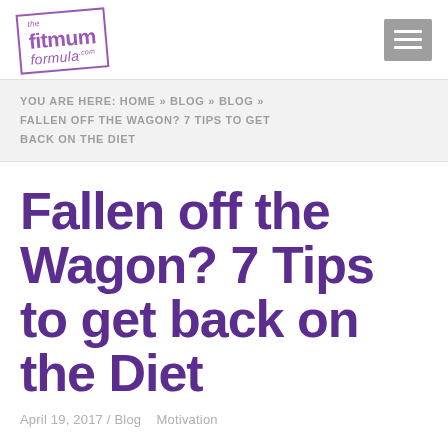the fitmum formula.com [logo] [hamburger menu]
YOU ARE HERE: HOME » BLOG » BLOG » FALLEN OFF THE WAGON? 7 TIPS TO GET BACK ON THE DIET
Fallen off the Wagon? 7 Tips to get back on the Diet
April 19, 2017 / Blog   Motivation